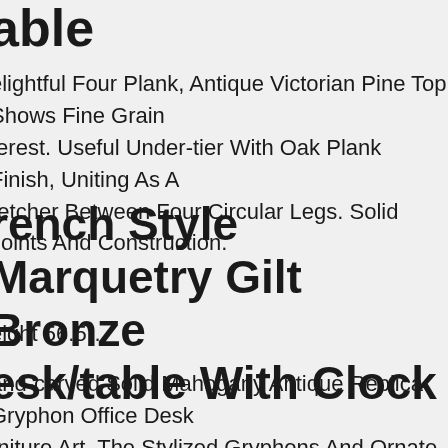able
elightful Four Plank, Antique Victorian Pine Top Shows Fine Grain terest. Useful Under-tier With Oak Plank Finish, Uniting As A retcher Between Four Circular Legs. Solid Joints And Construction.
rench Style Marquetry Gilt Bronze esk/table With Clock
eight 56.5".
and-carved Solid Mahogany Antique Replica Gryphon Office Desk rniture Art. The Stylized Gryphons And Ornate Filigree Scrollwork and-carved To Create The Legs Of This Exclusive Are Nothing Short f Amazing! The Egg-and-dart Molding Surrounding The Double-ered, Kiln-dried Top Of This Exquisite Sculptural Piece Allows You To lmire It From Every Angle.
erman Miller L Shape Desk - Grey Recut. Used. Corner Piece cluded. - Herman Miller L Shape Desk. Grey Recut Color. Long Desk